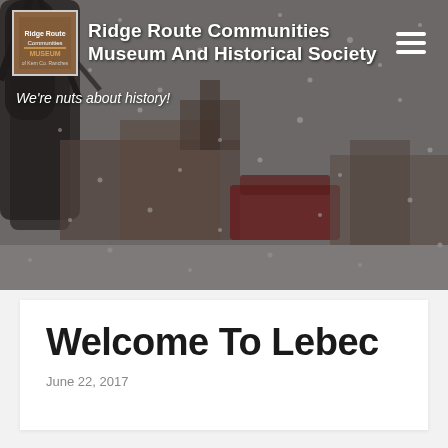Ridge Route Communities Museum And Historical Society
We're nuts about history!
[Figure (photo): Snowy winter scene showing buildings and a red vehicle in a blizzard, trees in the foreground, used as hero background for the Ridge Route Communities Museum website]
Welcome To Lebec
June 22, 2017